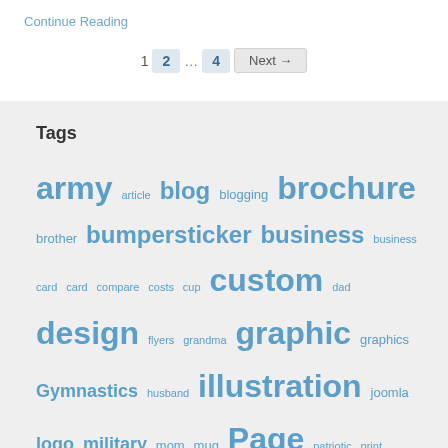Continue Reading
1  2  ...  4  Next →
Tags
army  article  blog  blogging  brochure  brother  bumpersticker  business  business card  card  compare  costs  cup  custom  dad  design  flyers  grandma  graphic  graphics  Gymnastics  husband  illustration  joomla  logo  military  mom  mug  Page  patriotic  print  printing  shirt  sister  small business  stationary  template  theme  trends  value  website  wife